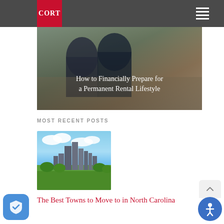[Figure (screenshot): CORT website navigation bar with red CORT logo on dark gray background and hamburger menu icon on the right]
[Figure (photo): Hero image showing two people sitting together looking at documents, with overlay text about financially preparing for a permanent rental lifestyle]
How to Financially Prepare for a Permanent Rental Lifestyle
MOST RECENT POSTS
[Figure (photo): Aerial photo of a city skyline with green trees and buildings, likely Charlotte, North Carolina]
The Best Towns to Move to in North Carolina